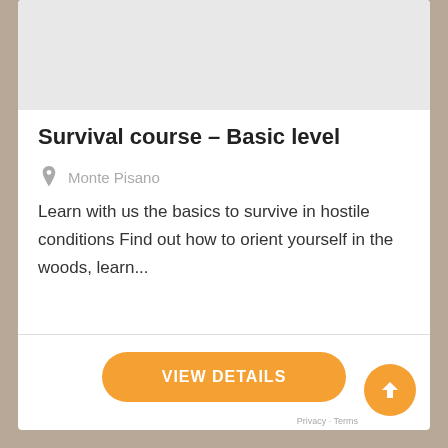[Figure (photo): Gray placeholder image area at top of card]
Survival course – Basic level
Monte Pisano
Learn with us the basics to survive in hostile conditions Find out how to orient yourself in the woods, learn...
VIEW DETAILS